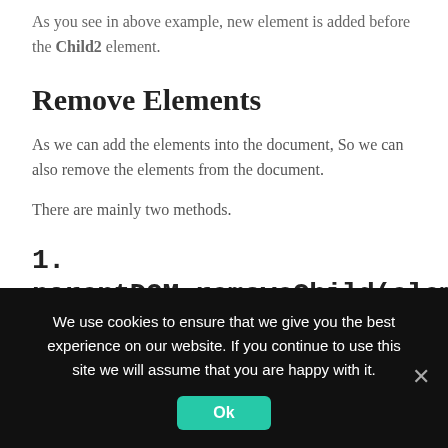As you see in above example, new element is added before the Child2 element.
Remove Elements
As we can add the elements into the document, So we can also remove the elements from the document.
There are mainly two methods.
1. parentDOM.removeChild(element)
This method will remove the element from the parentDOM.
We use cookies to ensure that we give you the best experience on our website. If you continue to use this site we will assume that you are happy with it.